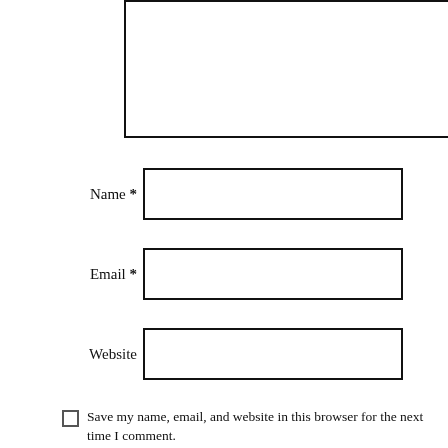[Figure (other): Text area input box (comment field) at the top of the page]
Name *
[Figure (other): Name text input field]
Email *
[Figure (other): Email text input field]
Website
[Figure (other): Website text input field]
Save my name, email, and website in this browser for the next time I comment.
POST COMMENT